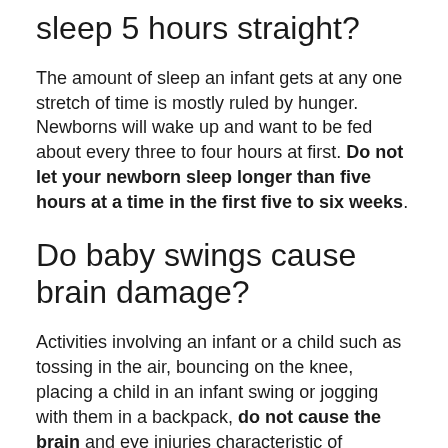sleep 5 hours straight?
The amount of sleep an infant gets at any one stretch of time is mostly ruled by hunger. Newborns will wake up and want to be fed about every three to four hours at first. Do not let your newborn sleep longer than five hours at a time in the first five to six weeks.
Do baby swings cause brain damage?
Activities involving an infant or a child such as tossing in the air, bouncing on the knee, placing a child in an infant swing or jogging with them in a backpack, do not cause the brain and eye injuries characteristic of